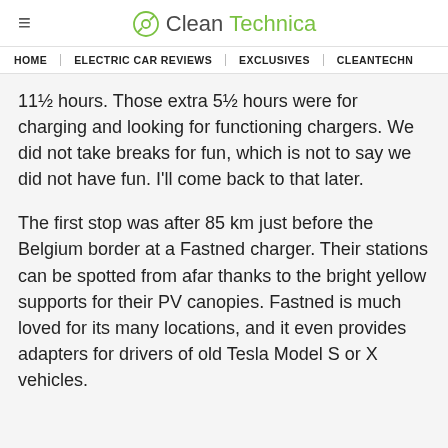CleanTechnica
HOME | ELECTRIC CAR REVIEWS | EXCLUSIVES | CLEANTECHN
11½ hours. Those extra 5½ hours were for charging and looking for functioning chargers. We did not take breaks for fun, which is not to say we did not have fun. I'll come back to that later.
The first stop was after 85 km just before the Belgium border at a Fastned charger. Their stations can be spotted from afar thanks to the bright yellow supports for their PV canopies. Fastned is much loved for its many locations, and it even provides adapters for drivers of old Tesla Model S or X vehicles.